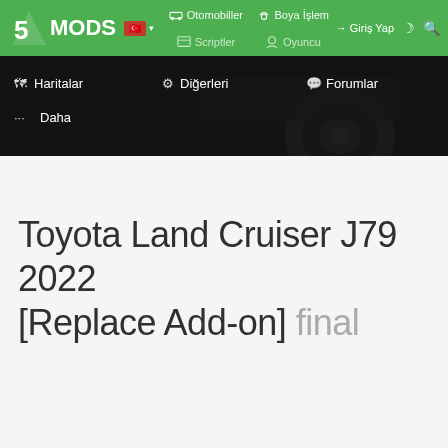[Figure (screenshot): 5MODS website navigation header with green top bar showing logo '5MODS', Turkish flag selector, menu items including Otomobiller, Boya İşlem, Scriptler, Oyuncu, Giriş Yap login button, and secondary dark navigation row showing Haritalar, Diğerleri, Forumlar, and Daha links overlaid on a dark car background image.]
Toyota Land Cruiser J79 2022 [Replace Add-on] final